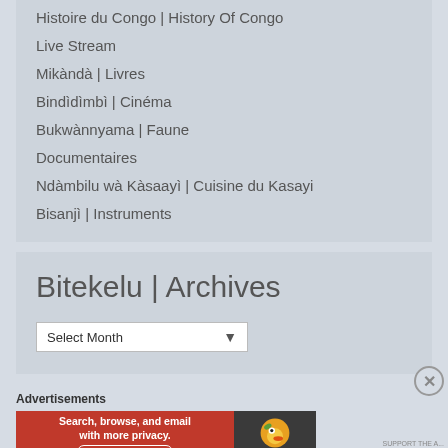Histoire du Congo | History Of Congo
Live Stream
Mikàndà | Livres
Bindìdìmbì | Cinéma
Bukwànnyama | Faune
Documentaires
Ndàmbilu wà Kàsaayì | Cuisine du Kasayi
Bisanjì | Instruments
Bitekelu | Archives
Select Month
Advertisements
[Figure (screenshot): DuckDuckGo advertisement banner: orange left section with text 'Search, browse, and email with more privacy. All in One Free App', dark right section with DuckDuckGo duck logo and 'DuckDuckGo' text]